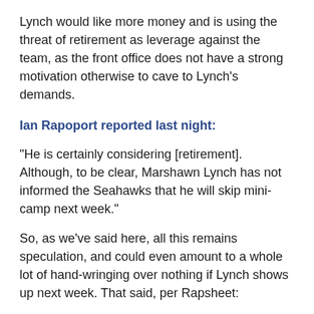Lynch would like more money and is using the threat of retirement as leverage against the team, as the front office does not have a strong motivation otherwise to cave to Lynch's demands.
Ian Rapoport reported last night:
"He is certainly considering [retirement]. Although, to be clear, Marshawn Lynch has not informed the Seahawks that he will skip mini-camp next week."
So, as we've said here, all this remains speculation, and could even amount to a whole lot of hand-wringing over nothing if Lynch shows up next week. That said, per Rapsheet:
"Marshawn does want a new contract; he wants a raise, and from what I understand, he's asking for a